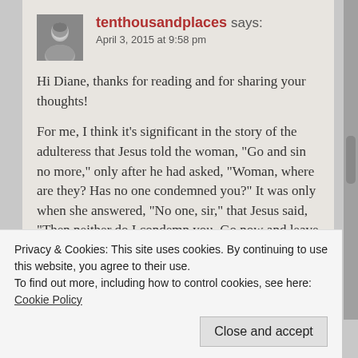[Figure (photo): Small black and white avatar photo of a person]
tenthousandplaces says:
April 3, 2015 at 9:58 pm
Hi Diane, thanks for reading and for sharing your thoughts!

For me, I think it’s significant in the story of the adulteress that Jesus told the woman, “Go and sin no more,” only after he had asked, “Woman, where are they? Has no one condemned you?” It was only when she answered, “No one, sir,” that Jesus said, “Then neither do I condemn you. Go now and leave your life of sin.”
Privacy & Cookies: This site uses cookies. By continuing to use this website, you agree to their use.
To find out more, including how to control cookies, see here: Cookie Policy
Close and accept